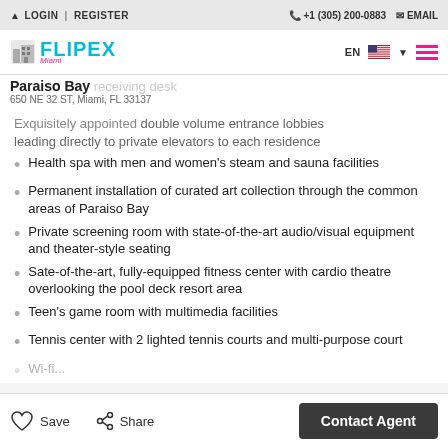LOGIN | REGISTER   +1 (305) 200-0883   EMAIL
[Figure (logo): FLIPEX Miami logo with teal/cyan text and building icon]
Paraiso Bay receiving desk
650 NE 32 ST, Miami, FL 33137
Exquisitely appointed double volume entrance lobbies leading directly to private elevators to each residence
Health spa with men and women's steam and sauna facilities
Permanent installation of curated art collection through the common areas of Paraiso Bay
Private screening room with state-of-the-art audio/visual equipment and theater-style seating
Sate-of-the-art, fully-equipped fitness center with cardio theatre overlooking the pool deck resort area
Teen's game room with multimedia facilities
Tennis center with 2 lighted tennis courts and multi-purpose court
Save   Share   Contact Agent